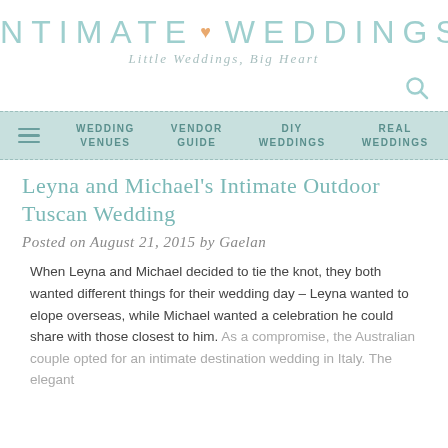INTIMATE WEDDINGS — Little Weddings, Big Heart
Leyna and Michael's Intimate Outdoor Tuscan Wedding
Posted on August 21, 2015 by Gaelan
When Leyna and Michael decided to tie the knot, they both wanted different things for their wedding day – Leyna wanted to elope overseas, while Michael wanted a celebration he could share with those closest to him. As a compromise, the Australian couple opted for an intimate destination wedding in Italy. The elegant...